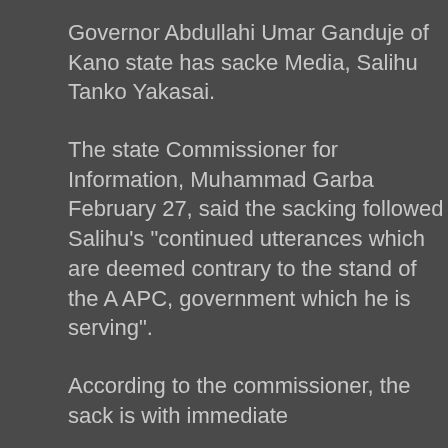Governor Abdullahi Umar Ganduje of Kano state has sacked his Special Adviser on Media, Salihu Tanko Yakasai.
The state Commissioner for Information, Muhammad Garba, in a statement on February 27, said the sacking followed Salihu's “continued and unguarded utterances which are deemed contrary to the stand of the APC and the APC, government which he is serving”.
According to the commissioner, the sack is with immediate effect.
Garba added that Salihu had failed to differentiate between his personal stand on matters of public concern and therefore cannot be allowed to serve in a government he does not believe in.
The governor via the statement warned political appointees against making statements capable of drawing superfluous attention.